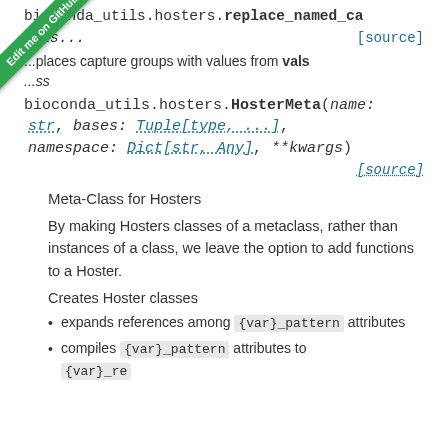bioconda_utils.hosters.replace_named_ca...
vals... [source]
...places capture groups with values from vals
...ss
bioconda_utils.hosters.HosterMeta(name: str, bases: Tuple[type, ...], namespace: Dict[str, Any], **kwargs) [source]
Meta-Class for Hosters
By making Hosters classes of a metaclass, rather than instances of a class, we leave the option to add functions to a Hoster.
Creates Hoster classes
expands references among {var}_pattern attributes
compiles {var}_pattern attributes to {var}_re